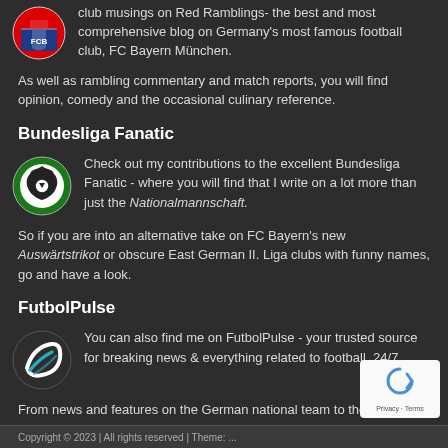[Figure (logo): FC Bayern München shield logo circle]
club musings on Red Ramblings- the best and most comprehensive blog on Germany's most famous football club, FC Bayern München.
As well as rambling commentary and match reports, you will find opinion, comedy and the occasional culinary reference.
Bundesliga Fanatic
[Figure (logo): Bundesliga Fanatic logo - black eagle on green/white circle]
Check out my contributions to the excellent Bundesliga Fanatic - where you will find that I write on a lot more than just the Nationalmannschaft.
So if you are into an alternative take on FC Bayern's new Auswärtstrikot or obscure East German II. Liga clubs with funny names, go and have a look.
FutbolPulse
[Figure (logo): FutbolPulse logo - abstract swoosh/ball icon in white and teal]
You can also find me on FutbolPulse - your trusted source for breaking news & everything related to football, 24/7.
From news and features on the German national team to the latest Bundesliga transfer stories and contemporary niche features, I will always have something to say.
Copyright © 2023 | ... All rights reserved | Theme: ...